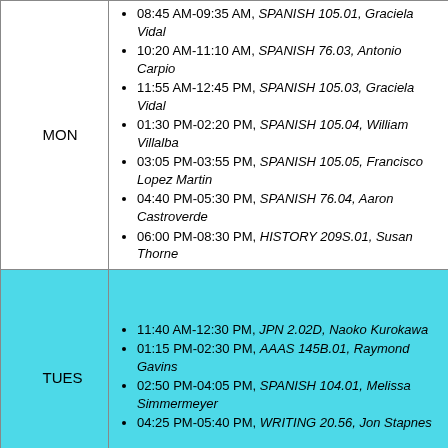|  | Day | Schedule |
| --- | --- | --- |
|  | MON | 08:45 AM-09:35 AM, SPANISH 105.01, Graciela Vidal | 10:20 AM-11:10 AM, SPANISH 76.03, Antonio Carpio | 11:55 AM-12:45 PM, SPANISH 105.03, Graciela Vidal | 01:30 PM-02:20 PM, SPANISH 105.04, William Villalba | 03:05 PM-03:55 PM, SPANISH 105.05, Francisco Lopez Martin | 04:40 PM-05:30 PM, SPANISH 76.04, Aaron Castroverde | 06:00 PM-08:30 PM, HISTORY 209S.01, Susan Thorne |
|  | TUES | 11:40 AM-12:30 PM, JPN 2.02D, Naoko Kurokawa | 01:15 PM-02:30 PM, AAAS 145B.01, Raymond Gavins | 02:50 PM-04:05 PM, SPANISH 104.01, Melissa Simmermeyer | 04:25 PM-05:40 PM, WRITING 20.56, Jon Stapnes |